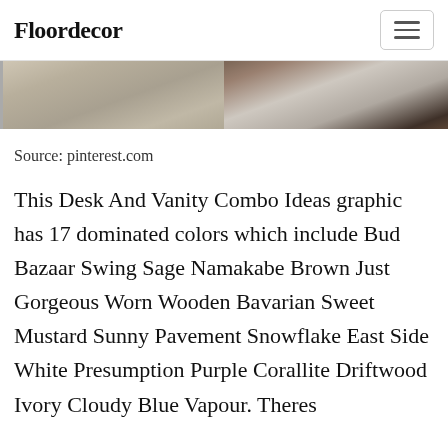Floordecor
[Figure (photo): Two side-by-side flooring/room photos: left shows a close-up of a gray woven rug or hardwood floor texture, right shows a room corner with dark wood flooring and a door.]
Source: pinterest.com
This Desk And Vanity Combo Ideas graphic has 17 dominated colors which include Bud Bazaar Swing Sage Namakabe Brown Just Gorgeous Worn Wooden Bavarian Sweet Mustard Sunny Pavement Snowflake East Side White Presumption Purple Corallite Driftwood Ivory Cloudy Blue Vapour. Theres